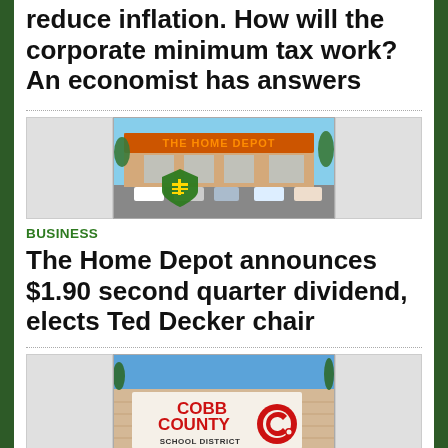reduce inflation. How will the corporate minimum tax work? An economist has answers
[Figure (photo): Three-panel image row: left and right panels are light gray placeholders; center panel shows The Home Depot store exterior with orange sign and vehicles in parking lot, overlaid with a green shield badge logo]
BUSINESS
The Home Depot announces $1.90 second quarter dividend, elects Ted Decker chair
[Figure (photo): Three-panel image row: left and right panels are light gray placeholders; center panel shows Cobb County School District sign in red and white on brick wall]